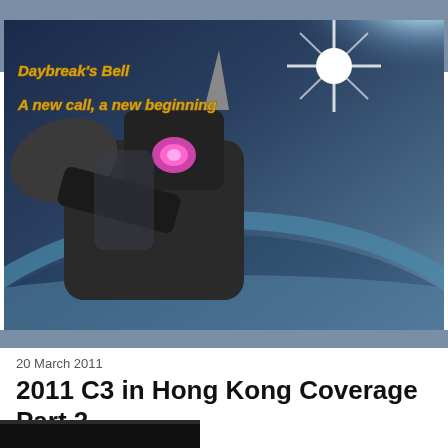[Figure (illustration): Anime-style illustration showing a mecha/robot character in space above Earth's atmosphere, with a bright starburst of light in the upper right. Text overlay reads 'Daybreak's Bell / A new call, a new beginning' in golden italic font.]
20 March 2011
2011 C3 in Hong Kong Coverage Part 2
[Figure (photo): Partial thumbnail image at bottom of page, dark/black content visible.]